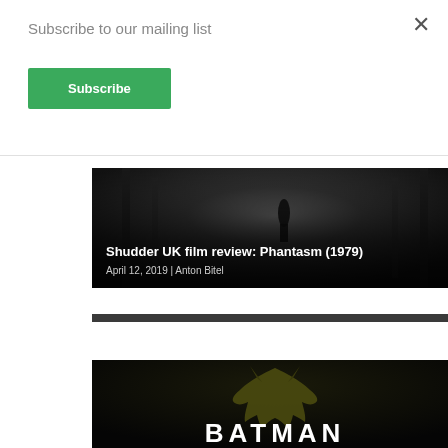Subscribe to our mailing list
Subscribe
[Figure (photo): Dark horror corridor scene with a figure standing in the background, from Phantasm (1979)]
Shudder UK film review: Phantasm (1979)
April 12, 2019 | Anton Bitel
[Figure (photo): Batman logo and title card with dark background showing the Batman bat symbol in olive/dark gold color, with BATMAN text in white below]